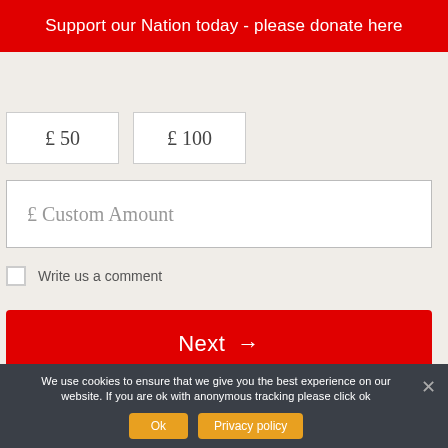Support our Nation today - please donate here
£ 50
£ 100
£ Custom Amount
Write us a comment
Next →
Powered by  Donorbox
We use cookies to ensure that we give you the best experience on our website. If you are ok with anonymous tracking please click ok
Ok
Privacy policy